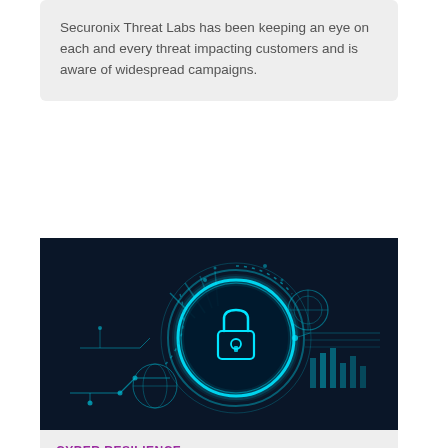Securonix Threat Labs has been keeping an eye on each and every threat impacting customers and is aware of widespread campaigns.
[Figure (illustration): Dark blue cybersecurity illustration featuring a glowing neon blue padlock at the center surrounded by digital circuit lines, holographic circles, and tech interface elements on a dark navy background.]
CYBER RESILIENCE
NZ's Cyber Resilience Framework to be evolving and potentially